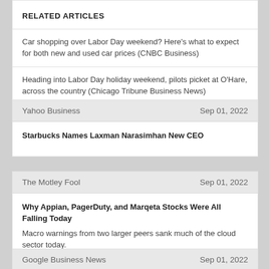RELATED ARTICLES
Car shopping over Labor Day weekend? Here's what to expect for both new and used car prices (CNBC Business)
Heading into Labor Day holiday weekend, pilots picket at O'Hare, across the country (Chicago Tribune Business News)
Yahoo Business | Sep 01, 2022
Starbucks Names Laxman Narasimhan New CEO
The Motley Fool | Sep 01, 2022
Why Appian, PagerDuty, and Marqeta Stocks Were All Falling Today
Macro warnings from two larger peers sank much of the cloud sector today.
Google Business News | Sep 01, 2022